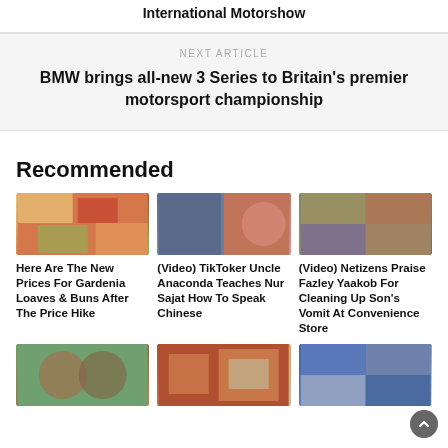International Motorshow
NEXT ARTICLE
BMW brings all-new 3 Series to Britain's premier motorsport championship
Recommended
[Figure (photo): Food items - Gardenia bread products]
Here Are The New Prices For Gardenia Loaves & Buns After The Price Hike
[Figure (photo): Man in black t-shirt and woman with red necklace]
(Video) TikToker Uncle Anaconda Teaches Nur Sajat How To Speak Chinese
[Figure (photo): Collage of people including woman in blue hijab]
(Video) Netizens Praise Fazley Yaakob For Cleaning Up Son's Vomit At Convenience Store
[Figure (photo): Couple smiling]
[Figure (photo): Person in office with football jersey]
[Figure (photo): Sports related collage]